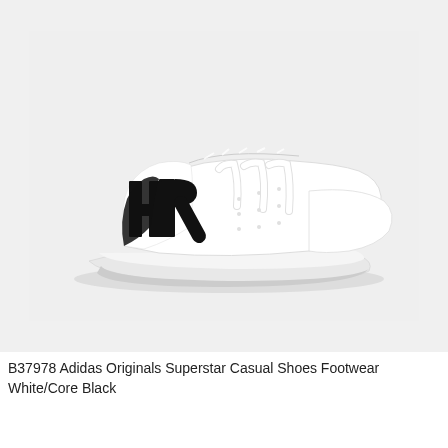[Figure (photo): Product photo of Adidas Originals Superstar sneaker in white leather with black bold lettering on the heel (showing partial letters 'HR'), three white stripes on side, shell toe, white laces, on a light gray background.]
B37978 Adidas Originals Superstar Casual Shoes Footwear White/Core Black